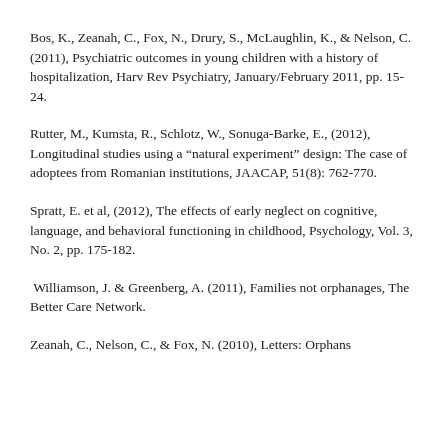Bos, K., Zeanah, C., Fox, N., Drury, S., McLaughlin, K., & Nelson, C. (2011), Psychiatric outcomes in young children with a history of hospitalization, Harv Rev Psychiatry, January/February 2011, pp. 15-24.
Rutter, M., Kumsta, R., Schlotz, W., Sonuga-Barke, E., (2012), Longitudinal studies using a “natural experiment” design: The case of adoptees from Romanian institutions, JAACAP, 51(8): 762-770.
Spratt, E. et al, (2012), The effects of early neglect on cognitive, language, and behavioral functioning in childhood, Psychology, Vol. 3, No. 2, pp. 175-182.
Williamson, J. & Greenberg, A. (2011), Families not orphanages, The Better Care Network.
Zeanah, C., Nelson, C., & Fox, N. (2010), Letters: Orphans